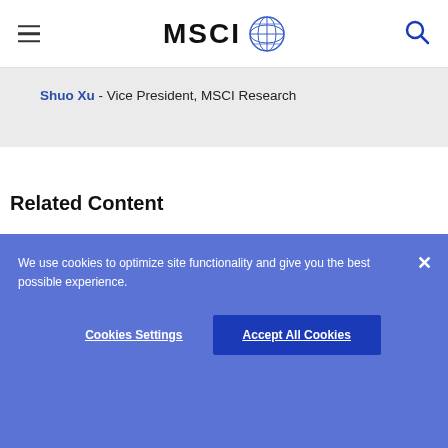MSCI
Shuo Xu - Vice President, MSCI Research
Related Content
Foundations of Dedicated China Allocations: Part 2
We use cookies to optimize site functionality and give you the best possible experience.
Cookies Settings   Accept All Cookies